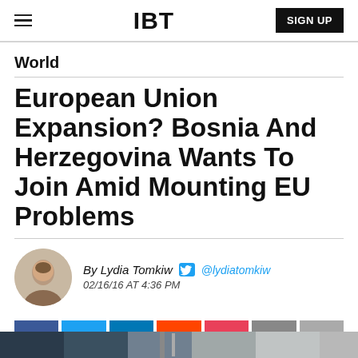IBT | SIGN UP
World
European Union Expansion? Bosnia And Herzegovina Wants To Join Amid Mounting EU Problems
By Lydia Tomkiw @lydiatomkiw 02/16/16 AT 4:36 PM
[Figure (other): Social sharing buttons: Facebook, Twitter, LinkedIn, Reddit, Flipboard, Email, Comment]
[Figure (photo): Partial photo visible at the bottom of the page, appears to be a news image related to the article]